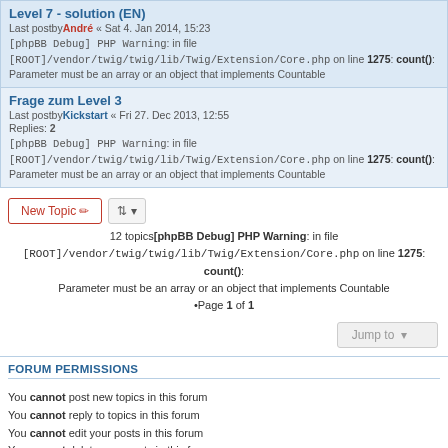Level 7 - solution (EN)
Last postby André « Sat 4. Jan 2014, 15:23
[phpBB Debug] PHP Warning: in file [ROOT]/vendor/twig/twig/lib/Twig/Extension/Core.php on line 1275: count(): Parameter must be an array or an object that implements Countable
Frage zum Level 3
Last postby Kickstart « Fri 27. Dec 2013, 12:55
Replies: 2
[phpBB Debug] PHP Warning: in file [ROOT]/vendor/twig/twig/lib/Twig/Extension/Core.php on line 1275: count(): Parameter must be an array or an object that implements Countable
New Topic | Sort | 12 topics [phpBB Debug] PHP Warning: in file [ROOT]/vendor/twig/twig/lib/Twig/Extension/Core.php on line 1275: count(): Parameter must be an array or an object that implements Countable •Page 1 of 1
Jump to
FORUM PERMISSIONS
You cannot post new topics in this forum
You cannot reply to topics in this forum
You cannot edit your posts in this forum
You cannot delete your posts in this forum
You cannot post attachments in this forum
Board index | All times are UTC
Powered by phpBB® Forum Software © phpBB Limited